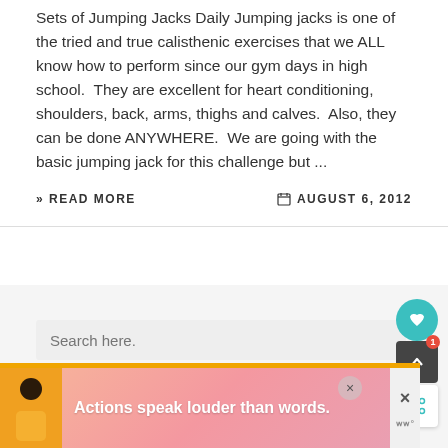Sets of Jumping Jacks Daily Jumping jacks is one of the tried and true calisthenic exercises that we ALL know how to perform since our gym days in high school.  They are excellent for heart conditioning, shoulders, back, arms, thighs and calves.  Also, they can be done ANYWHERE.  We are going with the basic jumping jack for this challenge but ...
» READ MORE    AUGUST 6, 2012
[Figure (screenshot): Search box and floating UI buttons (heart/like, scroll-to-top with badge '1', share button) on a light gray sidebar background]
[Figure (photo): Advertisement banner with orange top border showing a person in yellow shirt and text 'Actions speak louder than words.' on a pink/salmon gradient background, with close X button]